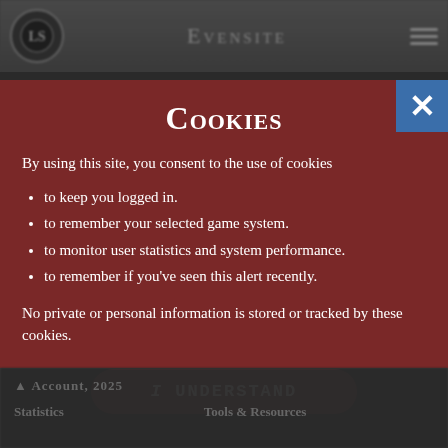Evensite [website header with logo and navigation]
Cookies
By using this site, you consent to the use of cookies
to keep you logged in.
to remember your selected game system.
to monitor user statistics and system performance.
to remember if you've seen this alert recently.
No private or personal information is stored or tracked by these cookies.
I UNDERSTAND
Navigation and footer links (blurred)